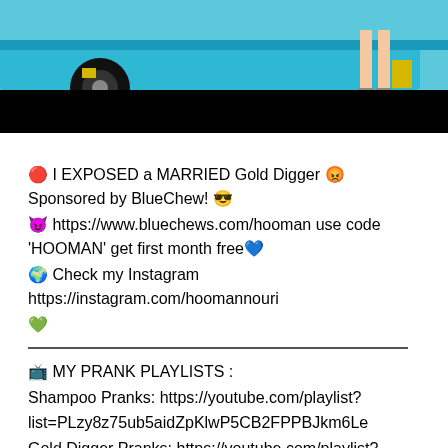[Figure (photo): Partial photo showing a blue sports car with a yellow accent and a person's legs visible near the car, with a black bar at the bottom of the image.]
🔴 I EXPOSED a MARRIED Gold Digger 😡 Sponsored by BlueChew! 😎
😈 https://www.bluechews.com/hooman use code 'HOOMAN' get first month free💙
🌍 Check my Instagram https://instagram.com/hoomannouri
💚
📺 MY PRANK PLAYLISTS :
Shampoo Pranks: https://youtube.com/playlist?list=PLzy8z75ub5aidZpKlwP5CB2FPPBJkm6Le
Gold Digger Pranks: https://youtube.com/playlist?list=PLzy8z75ub5aghICTSlVbadSmrFGka4M23